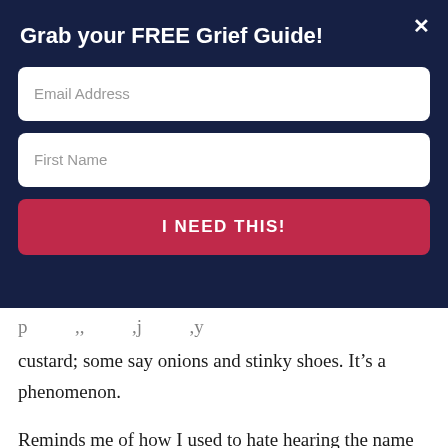Grab your FREE Grief Guide!
Email Address
First Name
I NEED THIS!
custard; some say onions and stinky shoes. It’s a phenomenon.
Reminds me of how I used to hate hearing the name of Jesus. I didn’t even like to say it. Now, just the mention of His Name calms my nerves